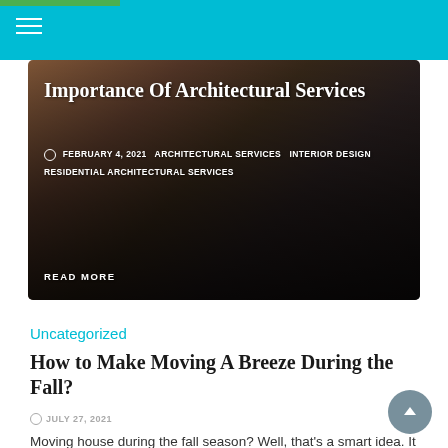[Figure (photo): Hero image showing a modern residential building exterior with dark overlay]
Importance Of Architectural Services
FEBRUARY 4, 2021  ARCHITECTURAL SERVICES  INTERIOR DESIGN  RESIDENTIAL ARCHITECTURAL SERVICES
READ MORE
Uncategorized
How to Make Moving A Breeze During the Fall?
JULY 27, 2021
Moving house during the fall season? Well, that's a smart idea. It is the best and inexpensive season to